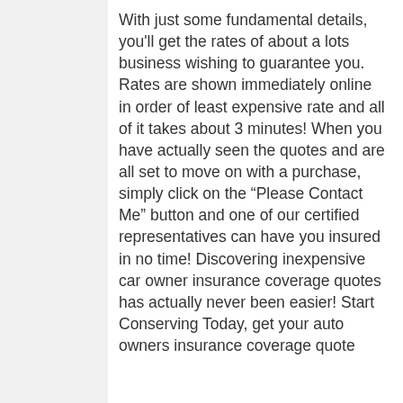With just some fundamental details, you'll get the rates of about a lots business wishing to guarantee you. Rates are shown immediately online in order of least expensive rate and all of it takes about 3 minutes! When you have actually seen the quotes and are all set to move on with a purchase, simply click on the “Please Contact Me” button and one of our certified representatives can have you insured in no time! Discovering inexpensive car owner insurance coverage quotes has actually never been easier! Start Conserving Today, get your auto owners insurance coverage quote online or call (###) ###-####! Wh